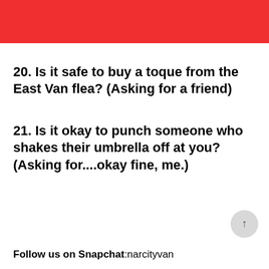20. Is it safe to buy a toque from the East Van flea?  (Asking for a friend)
21. Is it okay to punch someone who shakes their umbrella off at you?  (Asking for....okay fine, me.)
Follow us on Snapchat: narcityvan